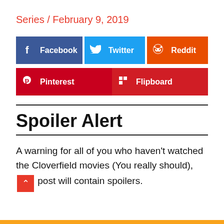Series / February 9, 2019
[Figure (infographic): Social share buttons: Facebook (blue), Twitter (light blue), Reddit (orange), Pinterest (dark red), Flipboard (red)]
Spoiler Alert
A warning for all of you who haven't watched the Cloverfield movies (You really should), post will contain spoilers.